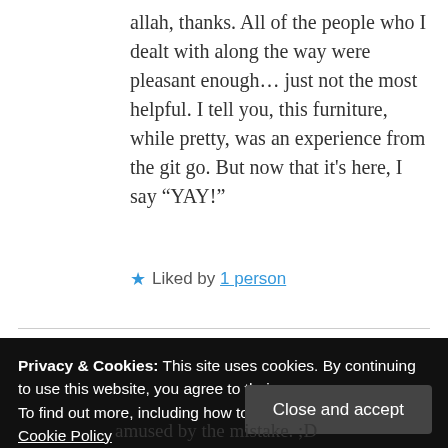allah, thanks. All of the people who I dealt with along the way were pleasant enough... just not the most helpful. I tell you, this furniture, while pretty, was an experience from the git go. But now that it's here, I say “YAY!”
★ Liked by 1 person
theworldaccording2ellah
Privacy & Cookies: This site uses cookies. By continuing to use this website, you agree to their use.
To find out more, including how to control cookies, see here: Cookie Policy
Close and accept
amused by the mistake. ;D